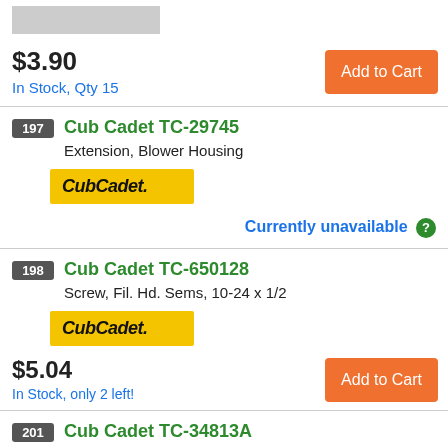[Figure (photo): Gray placeholder image at top]
$3.90
In Stock, Qty 15
Add to Cart
197
Cub Cadet TC-29745
Extension, Blower Housing
[Figure (logo): Cub Cadet logo on yellow background]
Currently unavailable ?
198
Cub Cadet TC-650128
Screw, Fil. Hd. Sems, 10-24 x 1/2
[Figure (logo): Cub Cadet logo on yellow background]
$5.04
In Stock, only 2 left!
Add to Cart
201
Cub Cadet TC-34813A
Housing, Blower
[Figure (logo): Cub Cadet logo on yellow background (partial)]